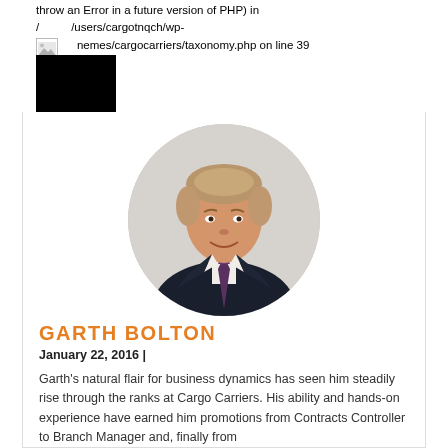throw an Error in a future version of PHP) in /users/cargotnqch/wp-content/themes/cargocarriers/taxonomy.php on line 39
[Figure (photo): Portrait photo of Garth Bolton, a middle-aged man with grey-blond hair, wearing a dark navy suit and purple tie, circular crop with grey background]
GARTH BOLTON
January 22, 2016 |
Garth's natural flair for business dynamics has seen him steadily rise through the ranks at Cargo Carriers. His ability and hands-on experience have earned him promotions from Contracts Controller to Branch Manager and, finally from